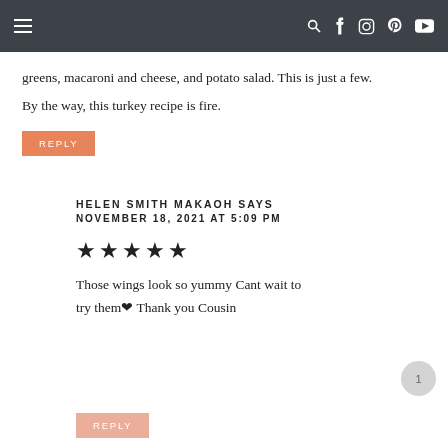Navigation bar with hamburger menu and social icons
greens, macaroni and cheese, and potato salad. This is just a few.
By the way, this turkey recipe is fire.
REPLY
HELEN SMITH MAKAOH SAYS
NOVEMBER 18, 2021 AT 5:09 PM
★★★★★
Those wings look so yummy Cant wait to try them ❤ Thank you Cousin